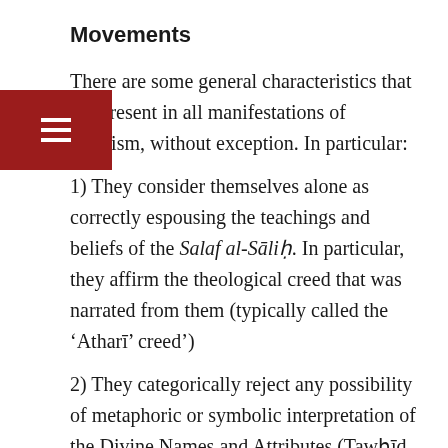Movements
There are some general characteristics that are present in all manifestations of Salafism, without exception. In particular:
1) They consider themselves alone as correctly espousing the teachings and beliefs of the Salaf al-Sāliḥ. In particular, they affirm the theological creed that was narrated from them (typically called the ‘Atharī’ creed’)
2) They categorically reject any possibility of metaphoric or symbolic interpretation of the Divine Names and Attributes (Tawḥīd Al-Asmā’ Wa’l-Sifāt), a hallmark of the sects such as the Muʿtazilah and the Ashāʿirah